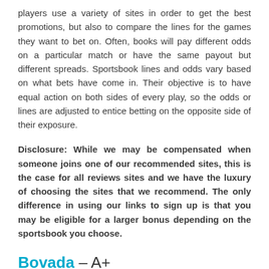players use a variety of sites in order to get the best promotions, but also to compare the lines for the games they want to bet on. Often, books will pay different odds on a particular match or have the same payout but different spreads. Sportsbook lines and odds vary based on what bets have come in. Their objective is to have equal action on both sides of every play, so the odds or lines are adjusted to entice betting on the opposite side of their exposure.
Disclosure: While we may be compensated when someone joins one of our recommended sites, this is the case for all reviews sites and we have the luxury of choosing the sites that we recommend. The only difference in using our links to sign up is that you may be eligible for a larger bonus depending on the sportsbook you choose.
Bovada – A+